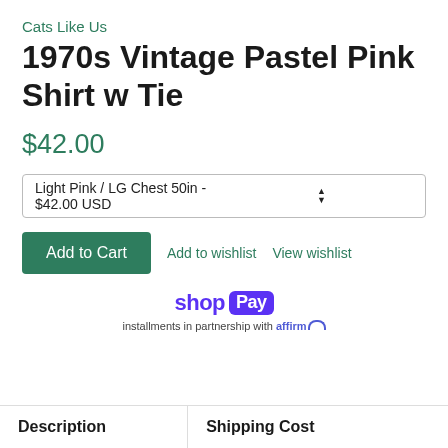Cats Like Us
1970s Vintage Pastel Pink Shirt w Tie
$42.00
Light Pink / LG Chest 50in - $42.00 USD
Add to Cart
Add to wishlist
View wishlist
[Figure (logo): Shop Pay logo with 'shop' text in purple and 'Pay' in white on purple badge, followed by 'installments in partnership with affirm' text]
Description
Shipping Cost